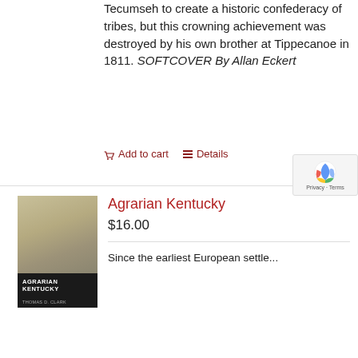Tecumseh to create a historic confederacy of tribes, but this crowning achievement was destroyed by his own brother at Tippecanoe in 1811. SOFTCOVER By Allan Eckert
Add to cart
Details
[Figure (photo): Book cover of Agrarian Kentucky showing a faded landscape background with a dark band at the bottom reading AGRARIAN KENTUCKY in white bold text and author name Thomas D. Clark below]
Agrarian Kentucky
$16.00
Since the earliest European settle...